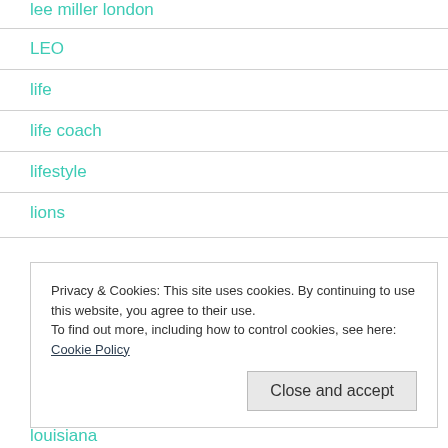lee miller london
LEO
life
life coach
lifestyle
lions
Privacy & Cookies: This site uses cookies. By continuing to use this website, you agree to their use.
To find out more, including how to control cookies, see here: Cookie Policy
Close and accept
louisiana